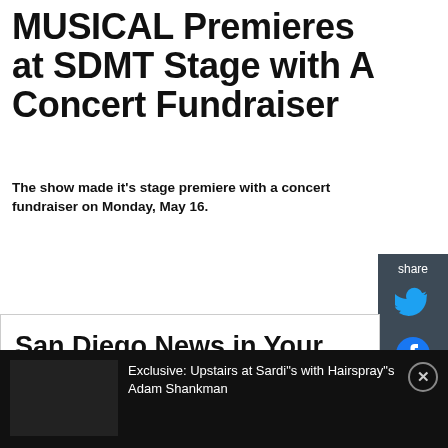MUSICAL Premieres at SDMT Stage with A Concert Fundraiser
The show made it's stage premiere with a concert fundraiser on Monday, May 16.
[Figure (infographic): Share panel with Twitter and Facebook icons on dark background]
San Diego News in Your Inbox
E-mail address
Sign up
Get local news, offers & more...
Exclusive: Upstairs at Sardi"s with Hairspray"s Adam Shankman